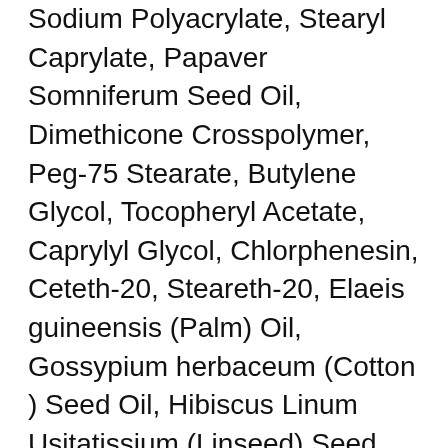Sodium Polyacrylate, Stearyl Caprylate, Papaver Somniferum Seed Oil, Dimethicone Crosspolymer, Peg-75 Stearate, Butylene Glycol, Tocopheryl Acetate, Caprylyl Glycol, Chlorphenesin, Ceteth-20, Steareth-20, Elaeis guineensis (Palm) Oil, Gossypium herbaceum (Cotton ) Seed Oil, Hibiscus Linum Usitatissium (Linseed) Seed Oil, Caprylhydroxamic Acid, Sodium Benzoate, Propylene Glycol, Geraniol, Hexyl Cinnmal, Amyl Cinnamal, Isoeugenol, Tocopherol, Sodium Salicylate, Cynoches Cooperi (Orchid) Flower / Leaf Extract, Nylon-12 , teprenone, Citric Acid, Tetrasodium Glutamate diacetate, Potassium Sorbate, Acetyl hexapeptide-51 amide, Sdoium Hydroxide, CI 77891 / Titanium Dioxide, CI15985 / Yellow 6...